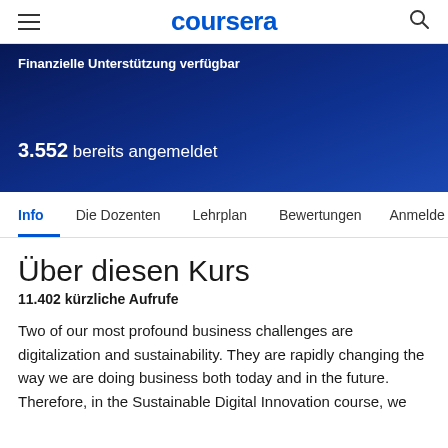coursera
Finanzielle Unterstützung verfügbar
3.552 bereits angemeldet
Info  Die Dozenten  Lehrplan  Bewertungen  Anmelde
Über diesen Kurs
11.402 kürzliche Aufrufe
Two of our most profound business challenges are digitalization and sustainability. They are rapidly changing the way we are doing business both today and in the future. Therefore, in the Sustainable Digital Innovation course, we